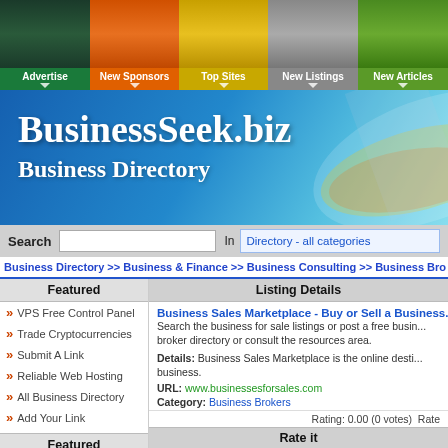Advertise | New Sponsors | Top Sites | New Listings | New Articles
[Figure (screenshot): BusinessSeek.biz Business Directory banner with blue gradient background and logo]
Search In Directory - all categories
Business Directory >> Business & Finance >> Business Consulting >> Business Bro...
Featured
VPS Free Control Panel
Trade Cryptocurrencies
Submit A Link
Reliable Web Hosting
All Business Directory
Add Your Link
Featured
Listing Details
Business Sales Marketplace - Buy or Sell a Business...
Search the business for sale listings or post a free business listing, browse the broker directory or consult the resources area.
Details: Business Sales Marketplace is the online destination to buy or sell a business.
URL: www.businessesforsales.com
Category: Business Brokers
Rating: 0.00 (0 votes)  Rate
Rate it